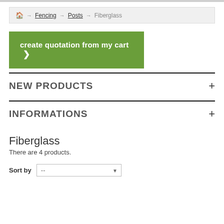🏠 → Fencing → Posts → Fiberglass
create quotation from my cart ❯
NEW PRODUCTS +
INFORMATIONS +
Fiberglass
There are 4 products.
Sort by --